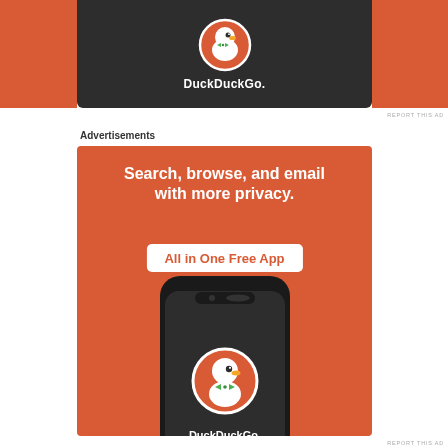[Figure (photo): DuckDuckGo app advertisement showing a smartphone with DuckDuckGo logo on dark background, flanked by orange panels, cropped at top]
REPORT THIS AD
Advertisements
[Figure (photo): DuckDuckGo advertisement with orange background showing text: Search, browse, and email with more privacy. All in One Free App. With a smartphone showing the DuckDuckGo logo and name.]
REPORT THIS AD